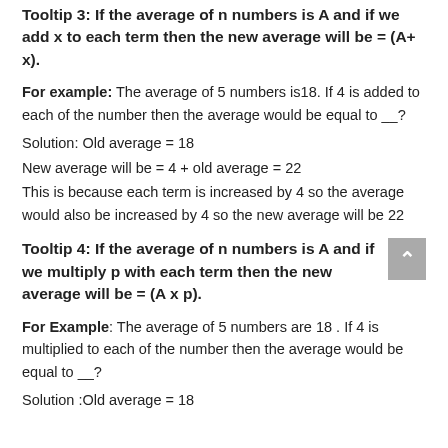Tooltip 3: If the average of n numbers is A and if we add x to each term then the new average will be = (A+ x).
For example: The average of 5 numbers is18. If 4 is added to each of the number then the average would be equal to __?
Solution: Old average = 18
New average will be = 4 + old average = 22
This is because each term is increased by 4 so the average would also be increased by 4 so the new average will be 22
Tooltip 4: If the average of n numbers is A and if we multiply p with each term then the new average will be = (A x p).
For Example: The average of 5 numbers are 18 . If 4 is multiplied to each of the number then the average would be equal to __?
Solution :Old average = 18